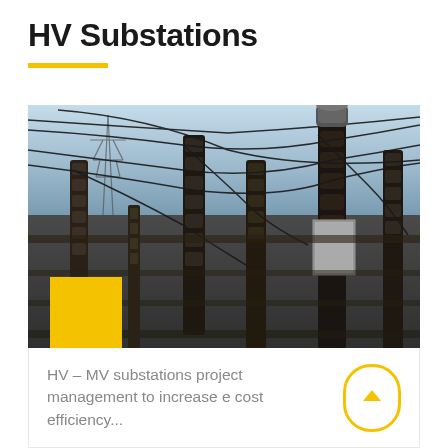HV Substations
[Figure (photo): Photograph of a high-voltage electrical substation showing insulators, transformers, transmission towers, overhead cables and electrical equipment against a blue sky. A yellow square overlay appears in the lower-left portion of the image.]
HV – MV substations project management to increase e cost efficiency...